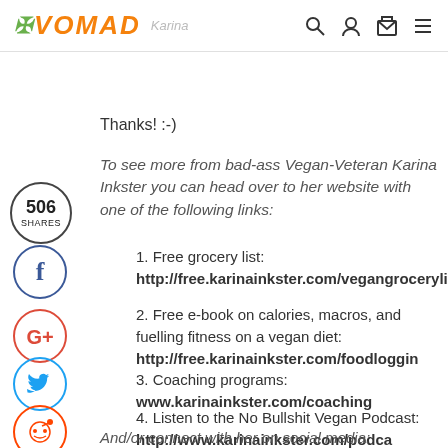VOMAD
Thanks! :-)
To see more from bad-ass Vegan-Veteran Karina Inkster you can head over to her website with one of the following links:
1. Free grocery list: http://free.karinainkster.com/vegangrocerylis
2. Free e-book on calories, macros, and fuelling fitness on a vegan diet: http://free.karinainkster.com/foodloggin
3. Coaching programs: www.karinainkster.com/coaching
4. Listen to the No Bullshit Vegan Podcast: http://www.karinainkster.com/podca
And/or connect with her on social media: